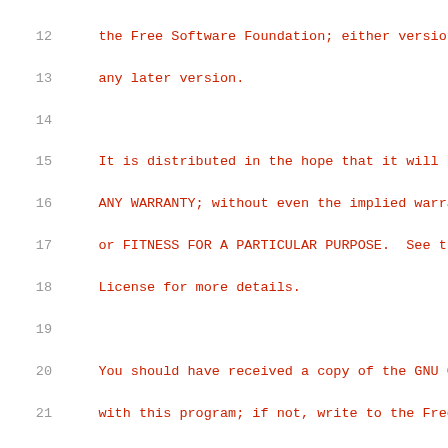Source code listing: lines 12-32 of a C file with GPL license comment and #include directives